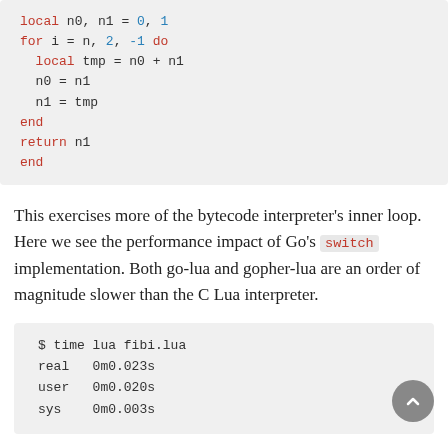[Figure (other): Code block showing Lua fibonacci function body: local n0, n1 = 0, 1; for i = n, 2, -1 do; local tmp = n0 + n1; n0 = n1; n1 = tmp; end; return n1; end]
This exercises more of the bytecode interpreter's inner loop. Here we see the performance impact of Go's switch implementation. Both go-lua and gopher-lua are an order of magnitude slower than the C Lua interpreter.
[Figure (other): Terminal output: $ time lua fibi.lua; real 0m0.023s; user 0m0.020s; sys 0m0.003s]